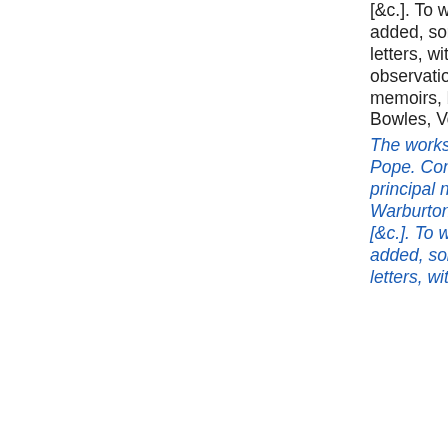[&c.]. To which are added, some original letters, with additional observations, and memoirs, by W.L. Bowles, Volumen4
The works of Alexander Pope. Containing the principal notes of drs. Warburton and Warton [&c.]. To which are added, some original letters, with